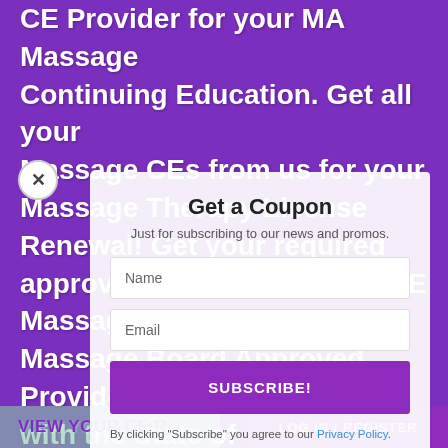CE Provider for your MA Massage Continuing Education. Get all your Massage CEs from us for your Massage Therapy License Renewal! Get your required approved MA Courses with CE Massage®. Massachusetts Massage Board Approved Provider with the State of Massachusetts. Massage CE Renewal and License Transfer Experts.
Get a Coupon
Just for subscribing to our news and promos.
Name
Email
SUBSCRIBE!
By clicking "Subscribe" you agree to our Privacy Policy.
LOG IN / REGISTER
VIEW YOUR CE R...